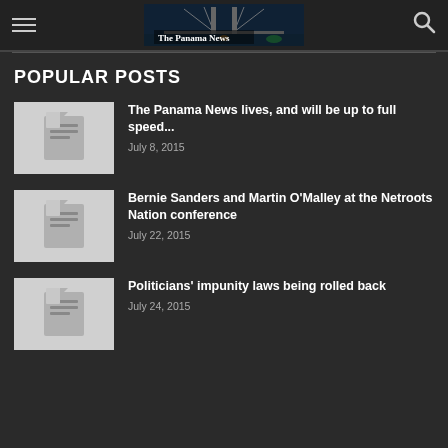The Panama News
POPULAR POSTS
The Panama News lives, and will be up to full speed... | July 8, 2015
Bernie Sanders and Martin O'Malley at the Netroots Nation conference | July 22, 2015
Politicians' impunity laws being rolled back | July 24, 2015